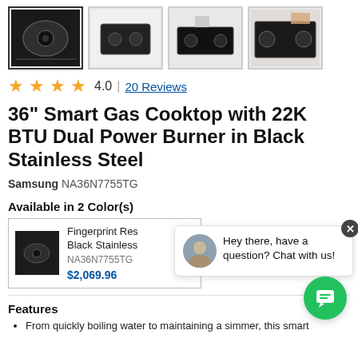[Figure (photo): Row of 4 product thumbnail images of a gas cooktop. First is selected (dark border), others show side/top/lifestyle views.]
4.0 | 20 Reviews
36" Smart Gas Cooktop with 22K BTU Dual Power Burner in Black Stainless Steel
Samsung NA36N7755TG
Available in 2 Color(s)
Fingerprint Res Black Stainless NA36N7755TG $2,069.96
[Figure (screenshot): Live chat popup with agent avatar and text: Hey there, have a question? Chat with us!]
Features
From quickly boiling water to maintaining a simmer, this smart